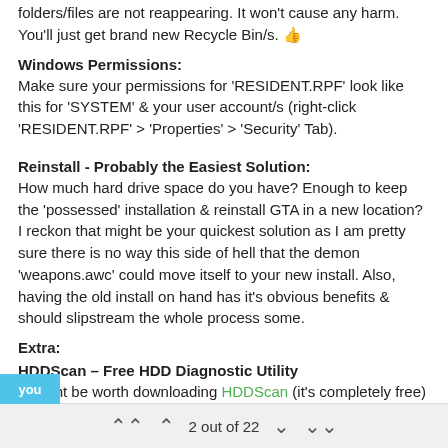folders/files are not reappearing. It won't cause any harm. You'll just get brand new Recycle Bin/s. 👍
Windows Permissions:
Make sure your permissions for 'RESIDENT.RPF' look like this for 'SYSTEM' & your user account/s (right-click 'RESIDENT.RPF' > 'Properties' > 'Security' Tab).
Reinstall - Probably the Easiest Solution:
How much hard drive space do you have? Enough to keep the 'possessed' installation & reinstall GTA in a new location? I reckon that might be your quickest solution as I am pretty sure there is no way this side of hell that the demon 'weapons.awc' could move itself to your new install. Also, having the old install on hand has it's obvious benefits & should slipstream the whole process some.
Extra:
HDDScan – Free HDD Diagnostic Utility
It might be worth downloading HDDScan (it's completely free) & running a scan on your hard drive for bad sectors/blocks or at least checking your drives S.M.A.R.T (Self-Monitoring Analysis and Reporting Technology) for any fails. This won't fix your problem but will give you information on the health of your drive that might save you hassle in future if it's on it's way out etc.
2 out of 22